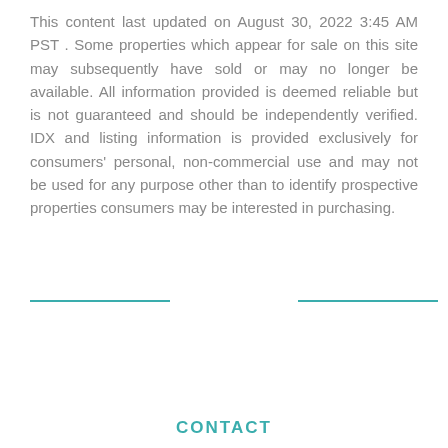This content last updated on August 30, 2022 3:45 AM PST . Some properties which appear for sale on this site may subsequently have sold or may no longer be available. All information provided is deemed reliable but is not guaranteed and should be independently verified. IDX and listing information is provided exclusively for consumers' personal, non-commercial use and may not be used for any purpose other than to identify prospective properties consumers may be interested in purchasing.
CONTACT